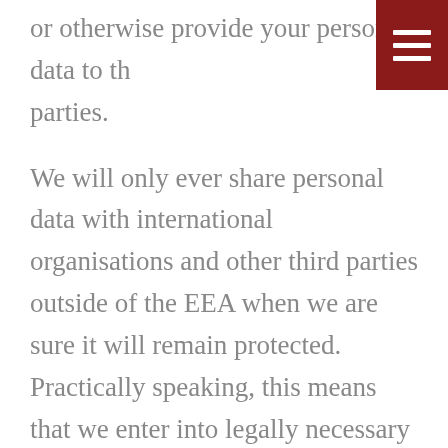or otherwise provide your personal data to third parties.
We will only ever share personal data with international organisations and other third parties outside of the EEA when we are sure it will remain protected. Practically speaking, this means that we enter into legally necessary contracts with recipients of Personal Data or equivalent means with parties outside the EEA that do not provide for an adequate level of protection. Please contact us via privacy@propertize.nl if you wish to have more information about how we protect personal data shared internationally.